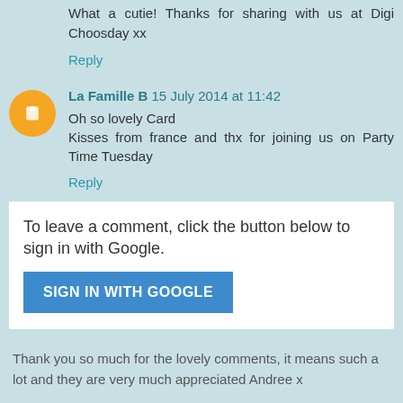What a cutie! Thanks for sharing with us at Digi Choosday xx
Reply
La Famille B 15 July 2014 at 11:42
Oh so lovely Card
Kisses from france and thx for joining us on Party Time Tuesday
Reply
To leave a comment, click the button below to sign in with Google.
SIGN IN WITH GOOGLE
Thank you so much for the lovely comments, it means such a lot and they are very much appreciated Andree x